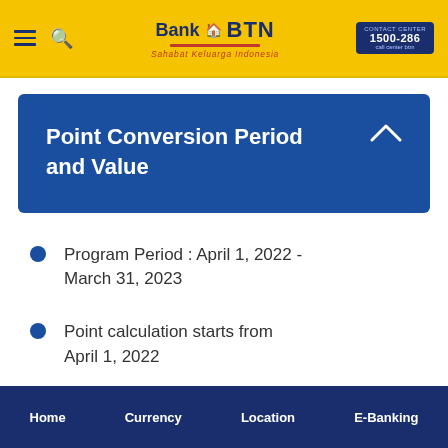[Figure (logo): Bank BTN logo with 'Sahabat Keluarga Indonesia' tagline and contact number 1500-286]
Point Conversion Period and Value
Program Period : April 1, 2022 - March 31, 2023
Point calculation starts from April 1, 2022
Home   Currency   Location   E-Banking